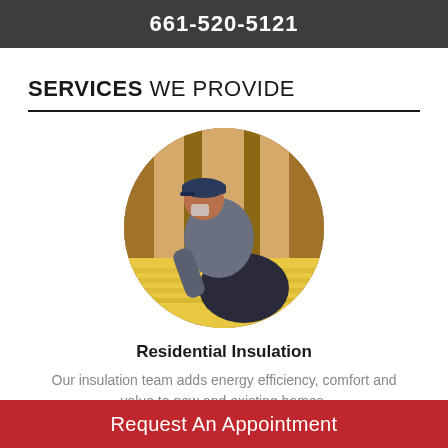661-520-5121
SERVICES WE PROVIDE
[Figure (photo): A worker in a gray long-sleeve shirt and dark cap kneeling and installing yellow fiberglass insulation batts in a wood-framed wall]
Residential Insulation
Our insulation team adds energy efficiency, comfort and value to new and existing homes.
Request An Appointment